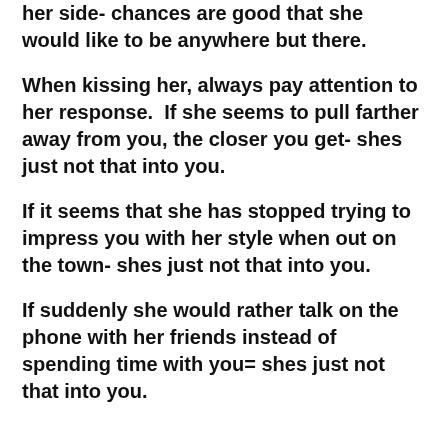her side- chances are good that she would like to be anywhere but there.
When kissing her, always pay attention to her response.  If she seems to pull farther away from you, the closer you get- shes just not that into you.
If it seems that she has stopped trying to impress you with her style when out on the town- shes just not that into you.
If suddenly she would rather talk on the phone with her friends instead of spending time with you= shes just not that into you.